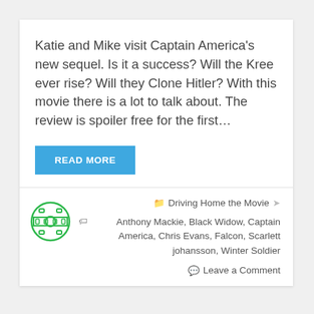Katie and Mike visit Captain America's new sequel. Is it a success? Will the Kree ever rise? Will they Clone Hitler? With this movie there is a lot to talk about. The review is spoiler free for the first…
READ MORE
[Figure (illustration): Green circle with a film reel icon inside]
Driving Home the Movie
Anthony Mackie, Black Widow, Captain America, Chris Evans, Falcon, Scarlett johansson, Winter Soldier
Leave a Comment